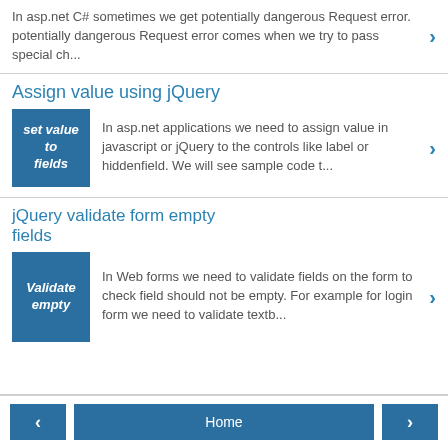In asp.net C# sometimes we get potentially dangerous Request error. potentially dangerous Request error comes when we try to pass special ch...
Assign value using jQuery
[Figure (illustration): Blue square thumbnail with italic text 'set value to fields']
In asp.net applications we need to assign value in javascript or jQuery to the controls like label or hiddenfield. We will see sample code t...
jQuery validate form empty fields
[Figure (illustration): Blue square thumbnail with italic text 'Validate empty']
In Web forms we need to validate fields on the form to check field should not be empty. For example for login form we need to validate textb...
< Home >